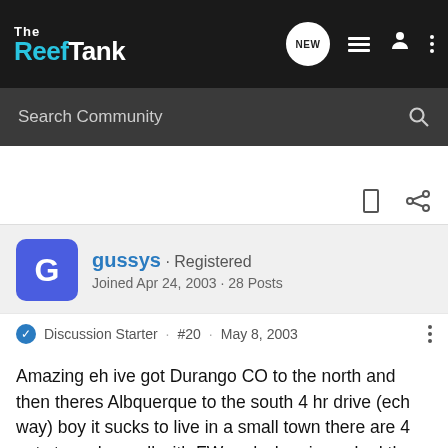The Reef Tank
Search Community
gussys · Registered
Joined Apr 24, 2003 · 28 Posts
Discussion Starter · #20 · May 8, 2003
Amazing eh ive got Durango CO to the north and then theres Albquerque to the south 4 hr drive (ech way) boy it sucks to live in a small town there are 4 pet stores here all with FW and when ive asked them about salt they all tell me the same thing well ya know you cant do saltwater here and if you do theres a